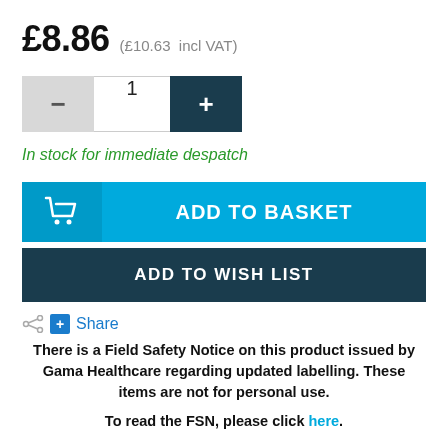£8.86  (£10.63  incl VAT)
[Figure (other): Quantity selector with minus button, quantity field showing 1, and plus button]
In stock for immediate despatch
[Figure (other): ADD TO BASKET button with shopping cart icon]
[Figure (other): ADD TO WISH LIST button]
Share
There is a Field Safety Notice on this product issued by Gama Healthcare regarding updated labelling. These items are not for personal use.
To read the FSN, please click here.